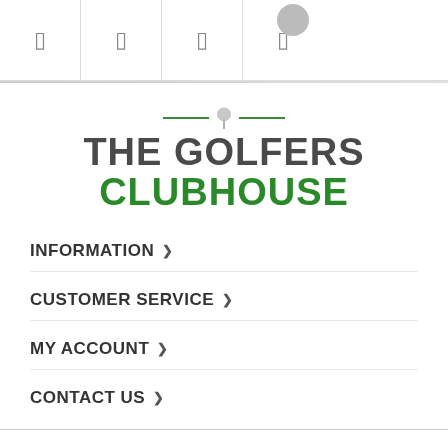[Figure (screenshot): Mobile navigation bar with four icon buttons separated by vertical lines, and a circular avatar in the top right corner]
[Figure (logo): The Golfers Clubhouse logo — gray text THE GOLFERS above green text CLUBHOUSE, with a golf pin icon and two green horizontal lines as decoration]
INFORMATION ›
CUSTOMER SERVICE ›
MY ACCOUNT ›
CONTACT US ›